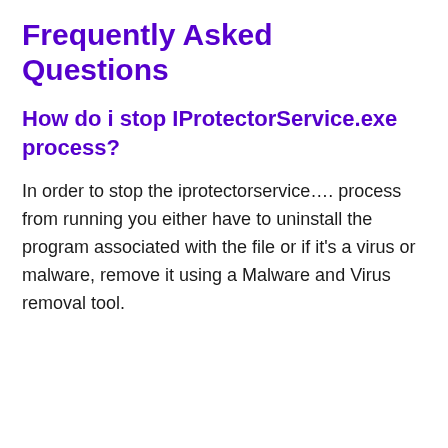Frequently Asked Questions
How do i stop IProtectorService.exe process?
In order to stop the iprotectorservice…. process from running you either have to uninstall the program associated with the file or if it's a virus or malware, remove it using a Malware and Virus removal tool.